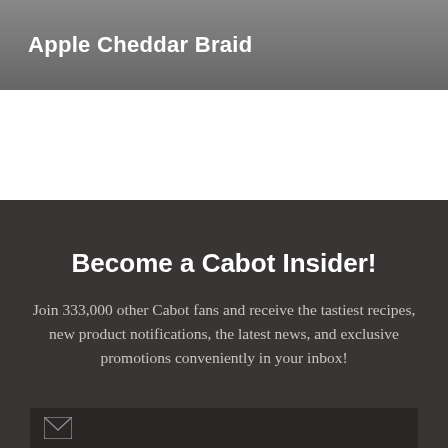Apple Cheddar Braid
Become a Cabot Insider!
Join 333,000 other Cabot fans and receive the tastiest recipes, new product notifications, the latest news, and exclusive promotions conveniently in your inbox!